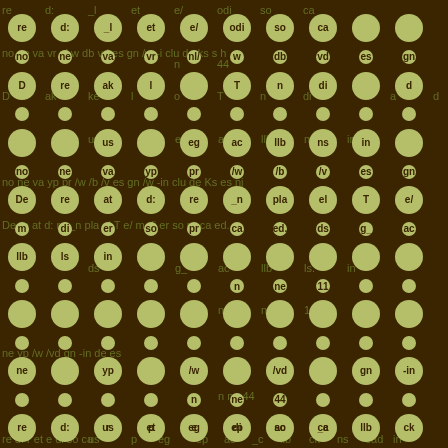[Figure (illustration): Repeating pattern of olive/yellow-green circles on a dark brown background. Many circles have partial text fragments visible inside or behind them, suggesting an overlaid typography pattern. The dots are arranged in a regular grid, with text fragments like 're', 'd:', 'el', 'e/', 'di', 'so', 'ca', 'no', 'ne', 'va', 'vr', 'nl', 'w', 'db', 'vd', 'es', 'gn', 'w', '-i', 'clu', 'de', 'ks', 'h', 'us', 'eg', 'ac', 'llb', 'ns', 'in', visible between and within the circles.]